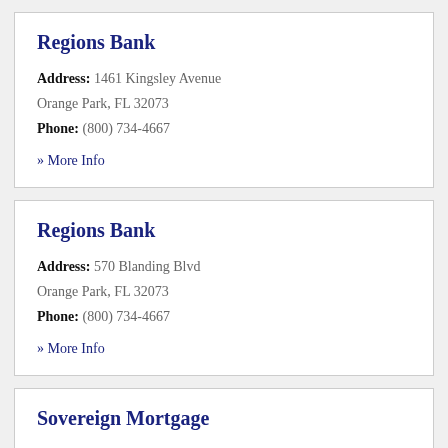Regions Bank
Address: 1461 Kingsley Avenue
Orange Park, FL 32073
Phone: (800) 734-4667
» More Info
Regions Bank
Address: 570 Blanding Blvd
Orange Park, FL 32073
Phone: (800) 734-4667
» More Info
Sovereign Mortgage